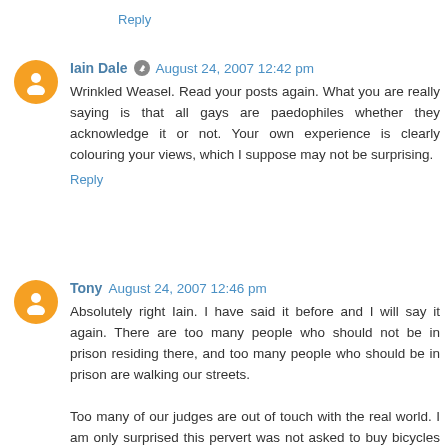Reply
Iain Dale  August 24, 2007 12:42 pm
Wrinkled Weasel. Read your posts again. What you are really saying is that all gays are paedophiles whether they acknowledge it or not. Your own experience is clearly colouring your views, which I suppose may not be surprising.
Reply
Tony  August 24, 2007 12:46 pm
Absolutely right Iain. I have said it before and I will say it again. There are too many people who should not be in prison residing there, and too many people who should be in prison are walking our streets.

Too many of our judges are out of touch with the real world. I am only surprised this pervert was not asked to buy bicycles for the children he abused 24 TIMES to cheer